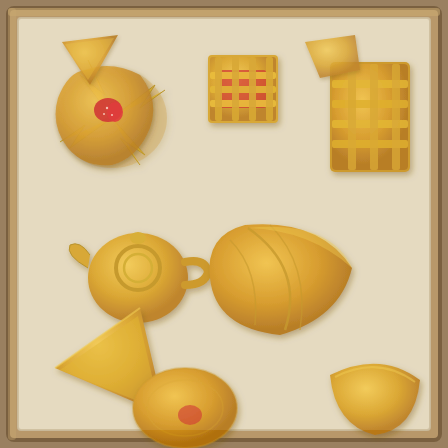[Figure (photo): A baking tray lined with parchment paper, holding approximately 9-10 assorted golden-baked puff pastry items in various shapes including pinwheels, lattice squares, triangles, ovals, and folded pastries, some topped with red strawberry slices. The tray has a metallic silver-brown rim and is photographed from above.]